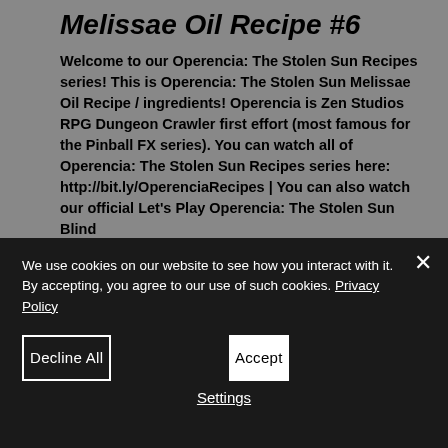Melissae Oil Recipe #6
Welcome to our Operencia: The Stolen Sun Recipes series! This is Operencia: The Stolen Sun Melissae Oil Recipe / ingredients! Operencia is Zen Studios RPG Dungeon Crawler first effort (most famous for the Pinball FX series). You can watch all of Operencia: The Stolen Sun Recipes series here: http://bit.ly/OperenciaRecipes | You can also watch our official Let's Play Operencia: The Stolen Sun Blind
We use cookies on our website to see how you interact with it. By accepting, you agree to our use of such cookies. Privacy Policy
Decline All
Accept
Settings